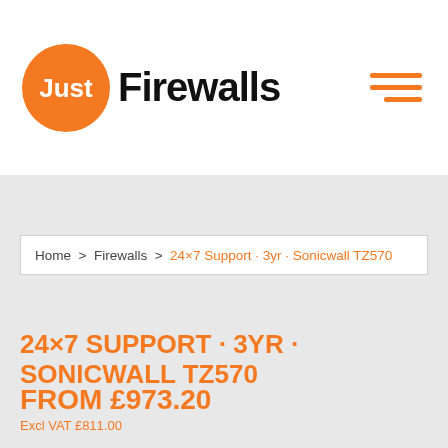[Figure (logo): Just Firewalls logo: orange circle with 'Just' in white text, followed by 'Firewalls' in bold black text. Orange hamburger menu icon on the right.]
Home  >  Firewalls  >  24×7 Support · 3yr · Sonicwall TZ570
24×7 SUPPORT · 3YR · SONICWALL TZ570
FROM £973.20
Excl VAT £811.00